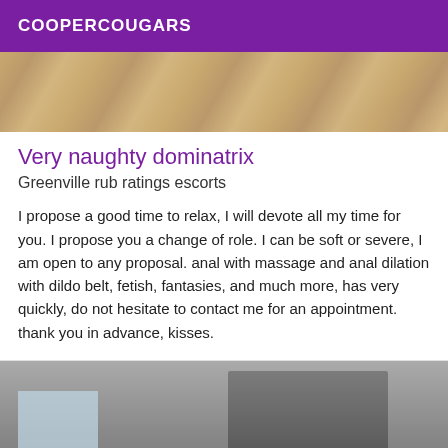COOPERCOUGARS
[Figure (photo): Top portion of an indoor photo showing a wooden floor or surface with warm tan/brown tones]
Very naughty dominatrix
Greenville rub ratings escorts
I propose a good time to relax, I will devote all my time for you. I propose you a change of role. I can be soft or severe, I am open to any proposal. anal with massage and anal dilation with dildo belt, fetish, fantasies, and much more, has very quickly, do not hesitate to contact me for an appointment. thank you in advance, kisses.
[Figure (photo): Person taking a mirror selfie with a white smartphone, dark hair, casual clothing, window with tiled wall visible in background]